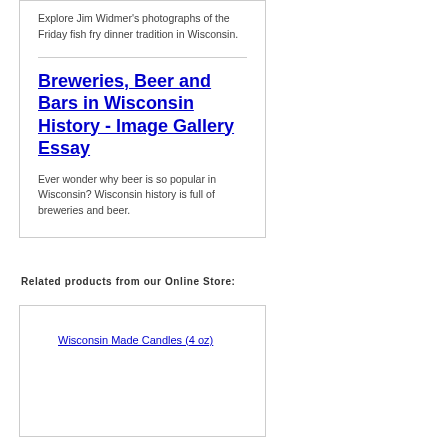Explore Jim Widmer's photographs of the Friday fish fry dinner tradition in Wisconsin.
Breweries, Beer and Bars in Wisconsin History - Image Gallery Essay
Ever wonder why beer is so popular in Wisconsin? Wisconsin history is full of breweries and beer.
Related products from our Online Store:
Wisconsin Made Candles (4 oz)